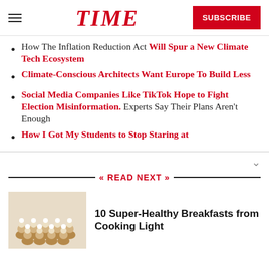TIME | SUBSCRIBE
How The Inflation Reduction Act Will Spur a New Climate Tech Ecosystem
Climate-Conscious Architects Want Europe To Build Less
Social Media Companies Like TikTok Hope to Fight Election Misinformation. Experts Say Their Plans Aren't Enough
How I Got My Students to Stop Staring at
READ NEXT
10 Super-Healthy Breakfasts from Cooking Light